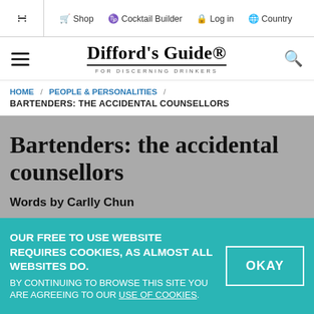< Share  🛒 Shop  🍸 Cocktail Builder  🔒 Log in  🌐 Country
Difford's Guide® FOR DISCERNING DRINKERS
HOME / PEOPLE & PERSONALITIES /
BARTENDERS: THE ACCIDENTAL COUNSELLORS
Bartenders: the accidental counsellors
Words by Carlly Chun
< SHARE
OUR FREE TO USE WEBSITE REQUIRES COOKIES, AS ALMOST ALL WEBSITES DO. BY CONTINUING TO BROWSE THIS SITE YOU ARE AGREEING TO OUR USE OF COOKIES.
OKAY